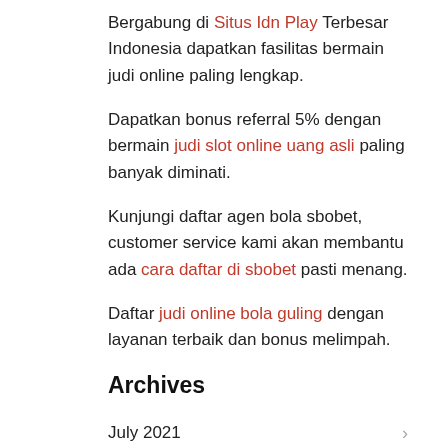Bergabung di Situs Idn Play Terbesar Indonesia dapatkan fasilitas bermain judi online paling lengkap.
Dapatkan bonus referral 5% dengan bermain judi slot online uang asli paling banyak diminati.
Kunjungi daftar agen bola sbobet, customer service kami akan membantu ada cara daftar di sbobet pasti menang.
Daftar judi online bola guling dengan layanan terbaik dan bonus melimpah.
Archives
July 2021